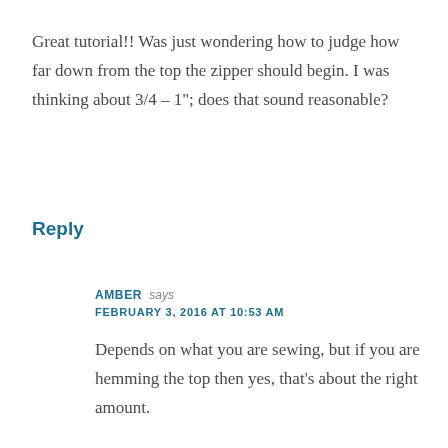Great tutorial!! Was just wondering how to judge how far down from the top the zipper should begin. I was thinking about 3/4 – 1"; does that sound reasonable?
Reply
AMBER says
FEBRUARY 3, 2016 AT 10:53 AM
Depends on what you are sewing, but if you are hemming the top then yes, that's about the right amount.